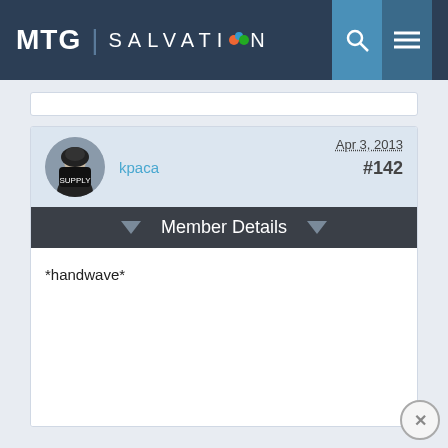MTG | SALVATION
kpaca
Apr 3, 2013
#142
Member Details
*handwave*